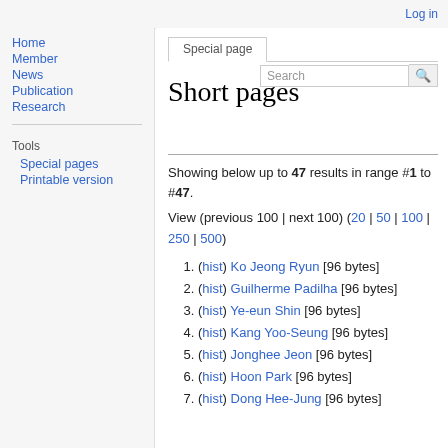Log in
Special page
Short pages
Showing below up to 47 results in range #1 to #47.
View (previous 100 | next 100) (20 | 50 | 100 | 250 | 500)
1. (hist) Ko Jeong Ryun [96 bytes]
2. (hist) Guilherme Padilha [96 bytes]
3. (hist) Ye-eun Shin [96 bytes]
4. (hist) Kang Yoo-Seung [96 bytes]
5. (hist) Jonghee Jeon [96 bytes]
6. (hist) Hoon Park [96 bytes]
7. (hist) Dong Hee-Jung [96 bytes]